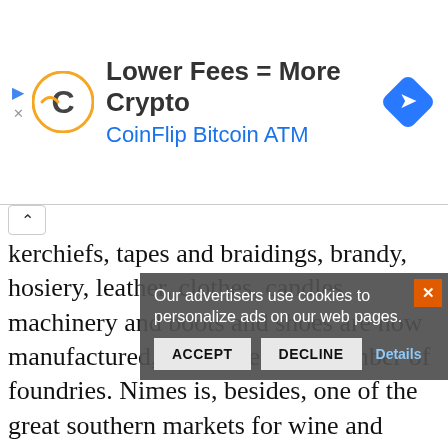[Figure (screenshot): Advertisement banner for CoinFlip Bitcoin ATM with logo, headline 'Lower Fees = More Crypto', subline 'CoinFlip Bitcoin ATM', and a blue diamond navigation icon.]
kerchiefs, tapes and braidings, brandy, hosiery, leather, clothes, candles, machinery and boots and shoes are now manufactured, and there are a number of foundries. Nimes is, besides, one of the great southern markets for wine and brandy, and there is a good trade in grain, groceries and colonial wares. Quarries of hard limestone, used as the material for the amphitheatre and other buildings by the Romans, are still worked in the vicinity. Nimes, the ancient Nemausus, derived its name from the sacred wood in which the Volcae Arecomici (one of the tribes that of their own accord surrendered to the Romans in 121 B.C.) were wont to hold their assemblies. Strabo states that it was the metropolis of a district containing twenty four
Our advertisers use cookies to personalize ads on our web pages.